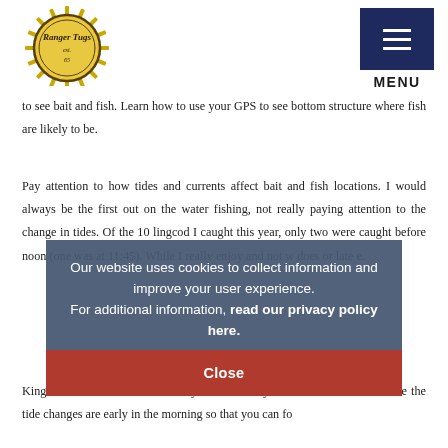Ranger Tugs [logo] | MENU
to see bait and fish. Learn how to use your GPS to see bottom structure where fish are likely to be.
Pay attention to how tides and currents affect bait and fish locations. I would always be the first out on the water fishing, not really paying attention to the change in tides. Of the 10 lingcod I caught this year, only two were caught before noon (one was at 11:45). While I really enjoy [obscured by overlay] and not w[obscured] does [obscured] or late e[obscured].
King salmon are known to be very active at very late. Look for times where the tide changes are early in the morning so that you can fo[cut off]
Our website uses cookies to collect information and improve your user experience.
For additional information, read our privacy policy here.
Close